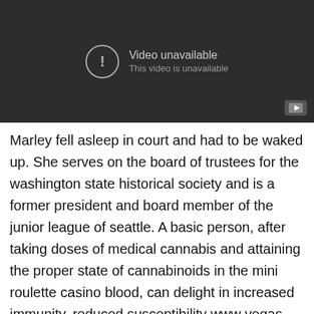[Figure (screenshot): Embedded video player showing 'Video unavailable — This video is unavailable' message on a dark background with a YouTube play button icon in the bottom right corner.]
Marley fell asleep in court and had to be waked up. She serves on the board of trustees for the washington state historical society and is a former president and board member of the junior league of seattle. A basic person, after taking doses of medical cannabis and attaining the proper state of cannabinoids in the mini roulette casino blood, can delight in increased immunity, reduced susceptibility www vegas slots to cancer, postponed aging and lowered danger of stroke or cardiovascular disease. The caughlin ranch area has seen several memorable blazes over the years? Does rivers casino